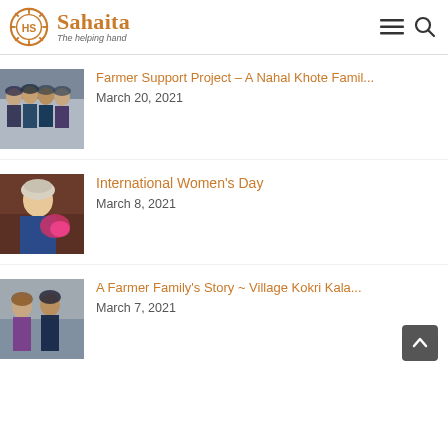Sahaita – The helping hand
Farmer Support Project – A Nahal Khote Famil…
March 20, 2021
International Women's Day
March 8, 2021
A Farmer Family's Story ~ Village Kokri Kala…
March 7, 2021